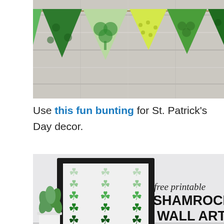[Figure (photo): St. Patrick's Day bunting with green triangular flags (dark green with shamrocks, light green with shamrocks, yellow-green with polka dots, medium green with shamrocks) hanging on a string against a white wood plank background.]
Use this fun bunting for St. Patrick's Day decor.
[Figure (photo): Free printable shamrock wall art — a framed print showing a grid of shamrocks in a gradient from light green at the top to dark green at the bottom, displayed on a light gray surface next to a succulent plant in a white pot. Text on the right reads 'free printable SHAMROCK WALL ART'.]